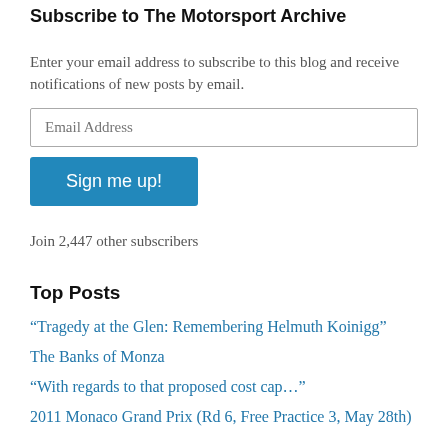Subscribe to The Motorsport Archive
Enter your email address to subscribe to this blog and receive notifications of new posts by email.
Email Address
Sign me up!
Join 2,447 other subscribers
Top Posts
“Tragedy at the Glen: Remembering Helmuth Koinigg”
The Banks of Monza
“With regards to that proposed cost cap…”
2011 Monaco Grand Prix (Rd 6, Free Practice 3, May 28th)